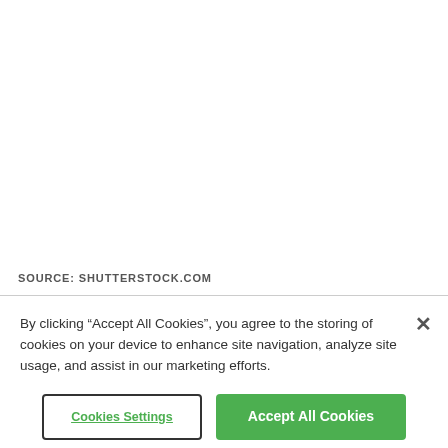SOURCE: SHUTTERSTOCK.COM
By clicking “Accept All Cookies”, you agree to the storing of cookies on your device to enhance site navigation, analyze site usage, and assist in our marketing efforts.
Cookies Settings
Accept All Cookies